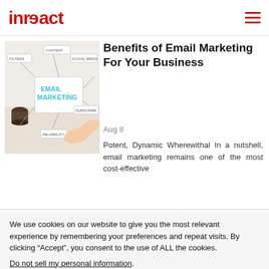inreact
[Figure (illustration): Email marketing concept illustration with text 'EMAIL MARKETING' and related icons including social media, content, filters, subscribers list, and a coffee cup on a desk]
Benefits of Email Marketing For Your Business
Aug 8
Potent, Dynamic Wherewithal In a nutshell, email marketing remains one of the most cost-effective
We use cookies on our website to give you the most relevant experience by remembering your preferences and repeat visits. By clicking “Accept”, you consent to the use of ALL the cookies.
Do not sell my personal information.